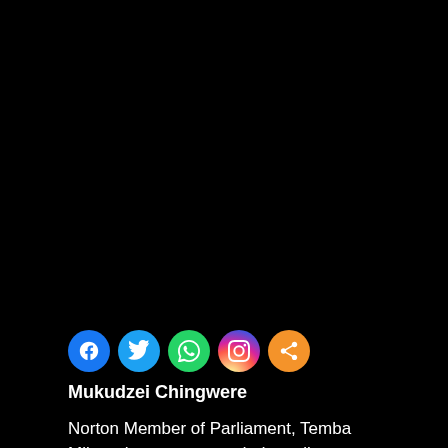[Figure (photo): Large black/dark image area occupying the top portion of the page]
[Figure (infographic): Row of social media sharing icons: Facebook (blue), Twitter (light blue), WhatsApp (green), Instagram (gradient), Share (orange)]
Mukudzei Chingwere
Norton Member of Parliament, Temba Mliswa has recommended an all-inclusive indaba to address